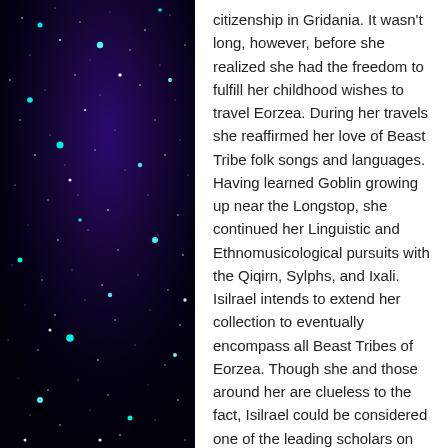[Figure (photo): A night sky photograph showing a deep space scene with a dark background ranging from black to deep purple/indigo, scattered with numerous bright white and cyan/teal colored stars of varying sizes.]
citizenship in Gridania. It wasn't long, however, before she realized she had the freedom to fulfill her childhood wishes to travel Eorzea. During her travels she reaffirmed her love of Beast Tribe folk songs and languages. Having learned Goblin growing up near the Longstop, she continued her Linguistic and Ethnomusicological pursuits with the Qiqirn, Sylphs, and Ixali. Isilrael intends to extend her collection to eventually encompass all Beast Tribes of Eorzea. Though she and those around her are clueless to the fact, Isilrael could be considered one of the leading scholars on Beast Tribe language and music.